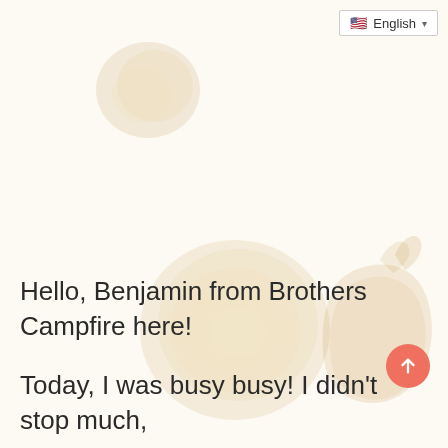[Figure (screenshot): Language selector UI widget showing English with US flag and dropdown arrow]
[Figure (illustration): Decorative coffee/tea stains on page background — small stain top-left area, large circular stain center-page, and a hand-shaped or leaf-shaped stain at bottom-right]
Hello, Benjamin from Brothers Campfire here!
Today, I was busy busy! I didn't stop much,